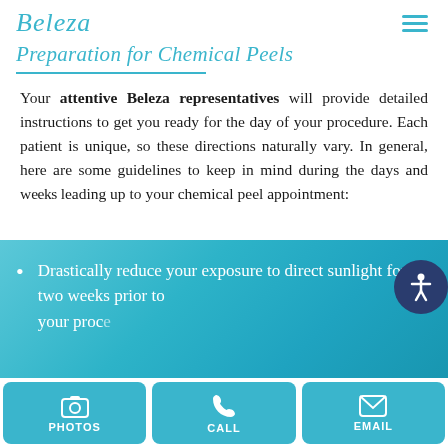Beleza
Preparation for Chemical Peels
Your attentive Beleza representatives will provide detailed instructions to get you ready for the day of your procedure. Each patient is unique, so these directions naturally vary. In general, here are some guidelines to keep in mind during the days and weeks leading up to your chemical peel appointment:
Drastically reduce your exposure to direct sunlight for two weeks prior to your procedure.
PHOTOS | CALL | EMAIL